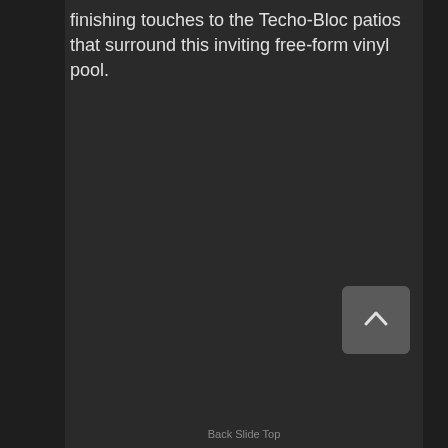finishing touches to the Techo-Bloc patios that surround this inviting free-form vinyl pool.
[Figure (other): Back to top button with upward chevron arrow on dark background]
Back Slide Top